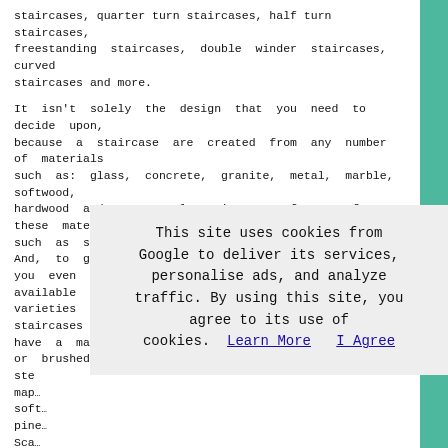staircases, quarter turn staircases, half turn staircases, freestanding staircases, double winder staircases, curved staircases and more.
It isn't solely the design that you need to decide upon, because a staircase are created from any number of materials such as: glass, concrete, granite, metal, marble, softwood, hardwood and stone, plus mixtures of any of these materials, such as stainless steel and timber staircases. And, to give you even more choices these materials are available in many varieties and finishes. For example steel staircases could have a matt, powder coated, galvanized, mirror or brushed ste... map... soft... pine... Sca...
This site uses cookies from Google to deliver its services, personalise ads, and analyze traffic. By using this site, you agree to its use of cookies. Learn More   I Agree